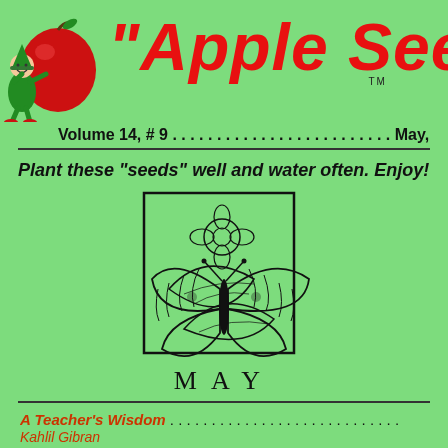[Figure (illustration): Cartoon character (elf/gnome) holding a large red apple, standing to the left of the title]
"Apple Seeds"
TM
Volume 14, # 9 . . . . . . . . . . . . . . . . . . . . . . . . . May,
[Figure (illustration): Black and white illustration of a butterfly resting on flowers/leaves inside a square frame, with the word MAY below]
Plant these "seeds" well and water often. Enjoy!
A Teacher's Wisdom . . . . . . . . . . . . . . . . . . . . . . . . . . . .
Kahlil Gibran